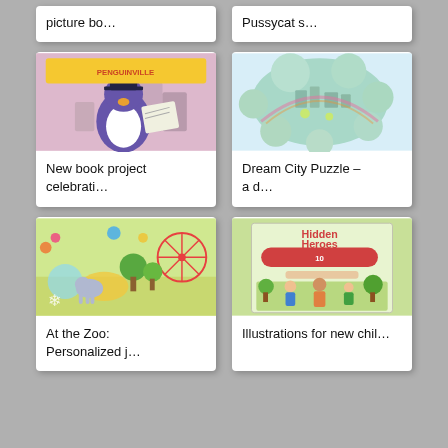picture bo…
Pussycat s…
[Figure (illustration): Book cover for Penguinville with a purple penguin character]
New book project celebrati…
[Figure (illustration): Dream City Puzzle – colorful illustrated city puzzle]
Dream City Puzzle – a d…
[Figure (illustration): At the Zoo personalized jigsaw puzzle with colorful zoo scene]
At the Zoo: Personalized j…
[Figure (illustration): 10 Hidden Heroes book cover illustration for children]
Illustrations for new chil…